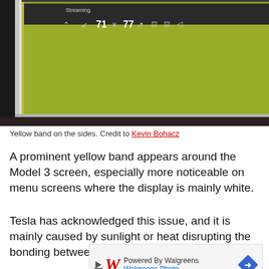[Figure (photo): Close-up photo of a Tesla Model 3 touchscreen showing a yellow band along the side edge of the screen. Screen shows 'Streaming' text and climate control icons with temperatures 71 and 77.]
Yellow band on the sides. Credit to Kevin Bohacz
A prominent yellow band appears around the Model 3 screen, especially more noticeable on menu screens where the display is mainly white.
Tesla has acknowledged this issue, and it is mainly caused by sunlight or heat disrupting the bonding between the display and the outer glass.
[Figure (other): Advertisement: Powered By Walgreens - Walgreens Photo]